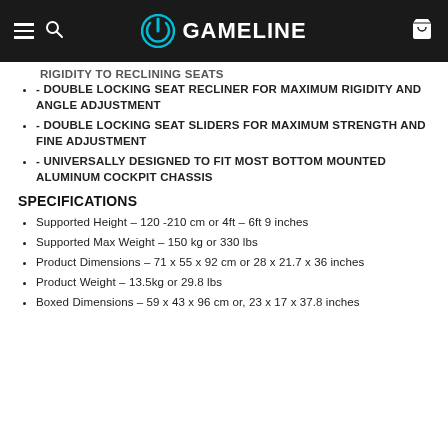GAMELINE
RIGIDITY TO RECLINING SEATS (partial)
- DOUBLE LOCKING SEAT RECLINER FOR MAXIMUM RIGIDITY AND ANGLE ADJUSTMENT
- DOUBLE LOCKING SEAT SLIDERS FOR MAXIMUM STRENGTH AND FINE ADJUSTMENT
- UNIVERSALLY DESIGNED TO FIT MOST BOTTOM MOUNTED ALUMINUM COCKPIT CHASSIS
SPECIFICATIONS
Supported Height – 120 -210 cm or 4ft – 6ft 9 inches
Supported Max Weight – 150 kg or 330 lbs
Product Dimensions – 71 x 55 x 92 cm or 28 x 21.7 x 36 inches
Product Weight – 13.5kg or 29.8 lbs
Boxed Dimensions – 59 x 43 x 96 cm or, 23 x 17 x 37.8 inches